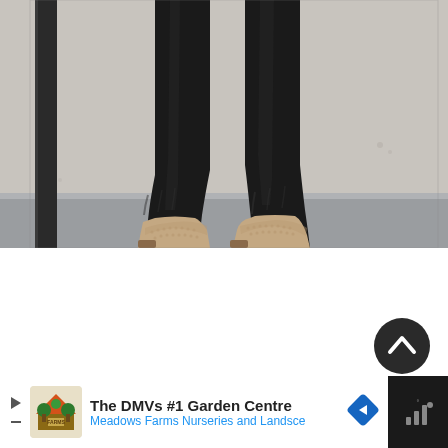[Figure (photo): Close-up photo of a person's lower legs wearing black skinny jeans and beige/nude ankle boots with perforated detail, standing on a grey surface against a light grey wall. A dark vertical pole is visible on the left side.]
[Figure (other): Dark circular scroll-to-top button with upward chevron/arrow icon, positioned in the lower-right of the white area.]
[Figure (other): Advertisement bar at the bottom: white panel showing Meadows Farms Nurseries logo, text 'The DMVs #1 Garden Centre' and 'Meadows Farms Nurseries and Landsce' in blue, with a blue navigation arrow icon. Dark panel on the right shows a mobile/wireless signal icon.]